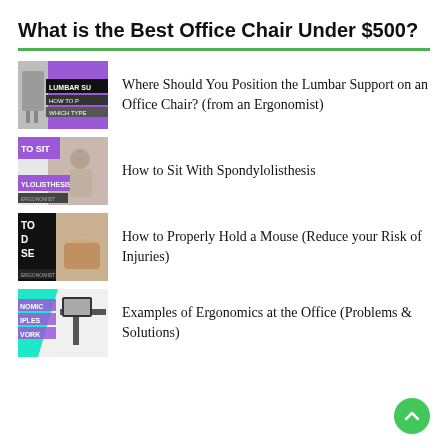What is the Best Office Chair Under $500?
Where Should You Position the Lumbar Support on an Office Chair? (from an Ergonomist)
How to Sit With Spondylolisthesis
How to Properly Hold a Mouse (Reduce your Risk of Injuries)
Examples of Ergonomics at the Office (Problems & Solutions)